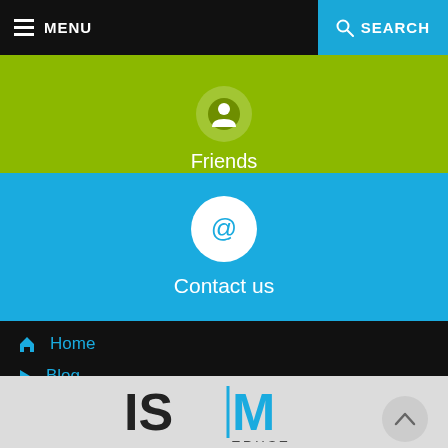MENU | SEARCH
[Figure (screenshot): Yellow-green section with circular icon and label 'Friends']
Friends
[Figure (screenshot): Blue section with @ icon circle and 'Contact us' label]
Contact us
Home
Blog
Musicians, wedding and contracts
[Figure (logo): ISM Trust logo in black and blue on grey background]